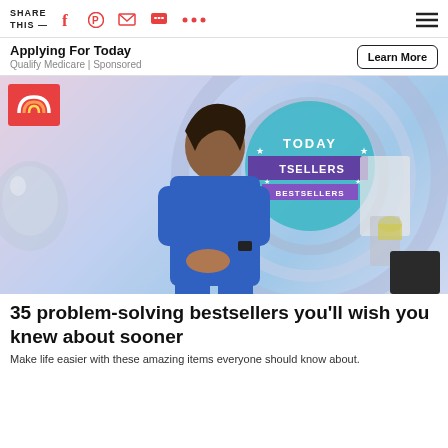SHARE THIS —
Applying For Today
Qualify Medicare | Sponsored
[Figure (photo): Woman in blue dress standing in front of TODAY Bestsellers studio backdrop, with a red TODAY logo in top left corner.]
35 problem-solving bestsellers you'll wish you knew about sooner
Make life easier with these 35 amazing items everyone should know about.